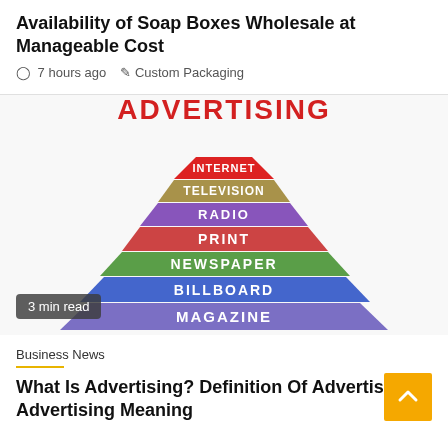Availability of Soap Boxes Wholesale at Manageable Cost
7 hours ago   Custom Packaging
[Figure (illustration): Pyramid of advertising media blocks stacked in layers labeled from top: INTERNET (red), TELEVISION (tan/gold), RADIO (purple), PRINT (red-pink), NEWSPAPER (green), BILLBOARD (blue), MAGAZINE (blue-purple). The word ADVERTISING appears at the top in large red bold letters. A '3 min read' badge overlays the bottom-left corner.]
Business News
What Is Advertising? Definition Of Advertising, Advertising Meaning